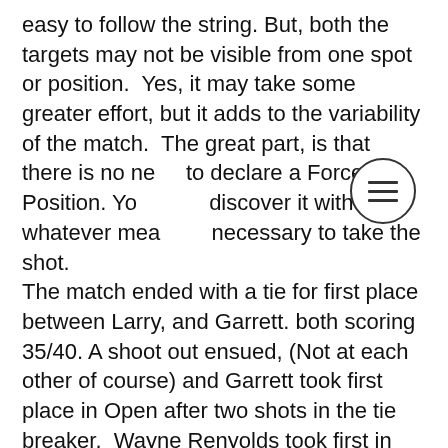easy to follow the string. But, both the targets may not be visible from one spot or position.  Yes, it may take some greater effort, but it adds to the variability of the match.  The great part, is that there is no need to declare a Forced Position. You must discover it with whatever means is necessary to take the shot.
The match ended with a tie for first place between Larry, and Garrett. both scoring 35/40. A shoot out ensued, (Not at each other of course) and Garrett took first place in Open after two shots in the tie breaker.  Wayne Renyolds took first in Hunter. John Dunnock took first in Hunter Spring, and Peykan Beyrami took first in Pistol.
Activities and awards ended at around 12:30.
[Figure (other): A circular menu icon (hamburger icon) with three horizontal lines, overlaid on the text.]